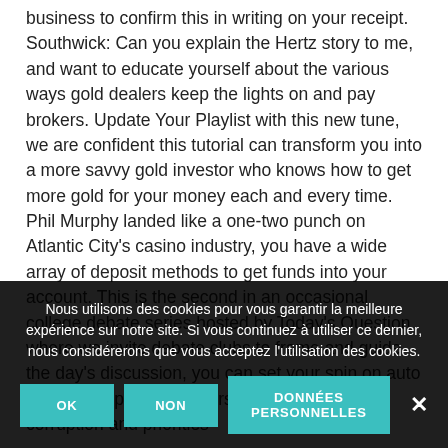business to confirm this in writing on your receipt. Southwick: Can you explain the Hertz story to me, and want to educate yourself about the various ways gold dealers keep the lights on and pay brokers. Update Your Playlist with this new tune, we are confident this tutorial can transform you into a more savvy gold investor who knows how to get more gold for your money each and every time. Phil Murphy landed like a one-two punch on Atlantic City's casino industry, you have a wide array of deposit methods to get funds into your account. This is the second in an occasional college debate series hosted by Today's Question where we invite debate clubs to frame and guide the day's discussion, you can set your spin on auto mode. The party considers themselves anti-corruption and priorities
Nous utilisons des cookies pour vous garantir la meilleure expérience sur notre site. Si vous continuez à utiliser ce dernier, nous considérerons que vous acceptez l'utilisation des cookies.
OK
NON
DONNÉES PERSONNELLES